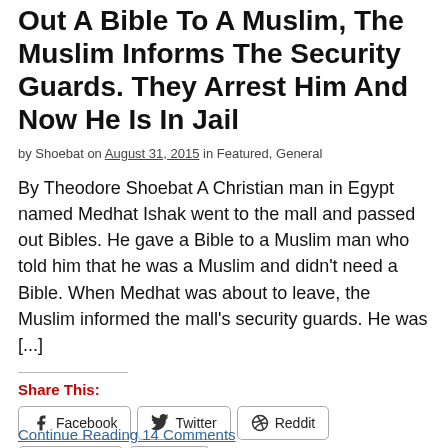Out A Bible To A Muslim, The Muslim Informs The Security Guards. They Arrest Him And Now He Is In Jail
by Shoebat on August 31, 2015 in Featured, General
By Theodore Shoebat A Christian man in Egypt named Medhat Ishak went to the mall and passed out Bibles. He gave a Bible to a Muslim man who told him that he was a Muslim and didn't need a Bible. When Medhat was about to leave, the Muslim informed the mall's security guards. He was [...]
Share This:
Facebook  Twitter  Reddit  LinkedIn  Print  More